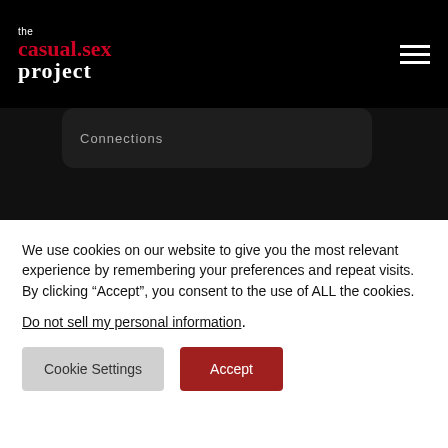the casual.sex project
Connections
LATEST ARTICLES
[Figure (illustration): Salmon/peach colored article card thumbnail]
r story →
We use cookies on our website to give you the most relevant experience by remembering your preferences and repeat visits. By clicking “Accept”, you consent to the use of ALL the cookies.
Do not sell my personal information.
Cookie Settings
Accept